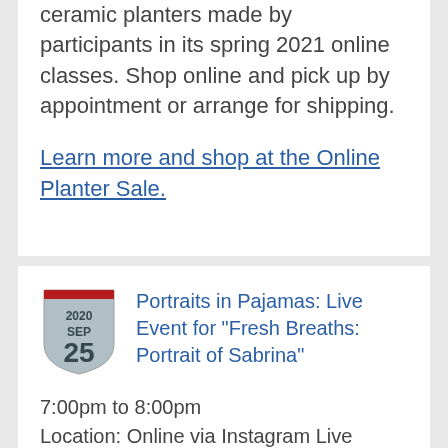ceramic planters made by participants in its spring 2021 online classes. Shop online and pick up by appointment or arrange for shipping.
Learn more and shop at the Online Planter Sale.
[Figure (other): Calendar badge icon showing 2020 SEP 25 with a red bar at top and shield/badge shape in grey]
Portraits in Pajamas: Live Event for "Fresh Breaths: Portrait of Sabrina"
7:00pm to 8:00pm
Location: Online via Instagram Live